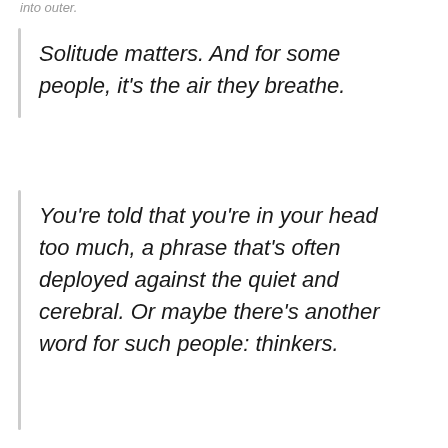into outer.
Solitude matters. And for some people, it’s the air they breathe.
You’re told that you’re in your head too much, a phrase that’s often deployed against the quiet and cerebral. Or maybe there’s another word for such people: thinkers.